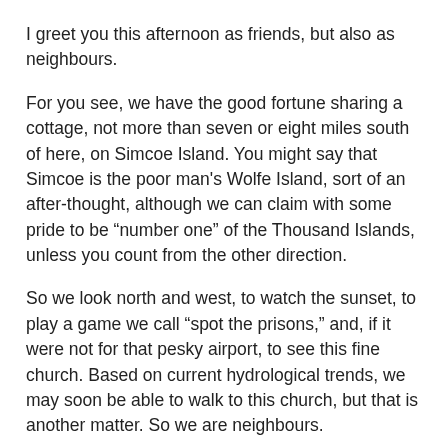I greet you this afternoon as friends, but also as neighbours.
For you see, we have the good fortune sharing a cottage, not more than seven or eight miles south of here, on Simcoe Island. You might say that Simcoe is the poor man’s Wolfe Island, sort of an after-thought, although we can claim with some pride to be “number one” of the Thousand Islands, unless you count from the other direction.
So we look north and west, to watch the sunset, to play a game we call “spot the prisons,” and, if it were not for that pesky airport, to see this fine church. Based on current hydrological trends, we may soon be able to walk to this church, but that is another matter. So we are neighbours.
I assume that it is no accident that this church was located on the shore. We tend to seek out places beside rivers and lakes, for the feeling that water evokes, a sense of connection, a sense of something bigger, some sense of primeval longing we can’t quite put our finger on. I know we feel it seven or eight miles over there, and I’m certain you